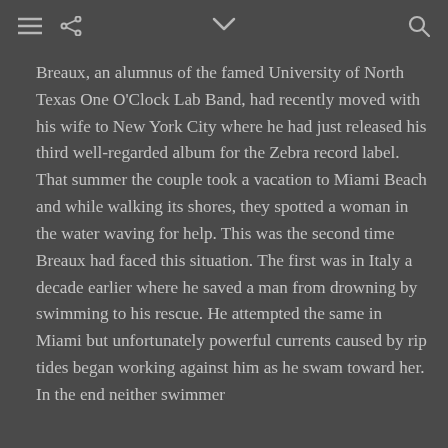[navigation icons: menu, share, chevron-down, search]
Breaux, an alumnus of the famed University of North Texas One O'Clock Lab Band, had recently moved with his wife to New York City where he had just released his third well-regarded album for the Zebra record label. That summer the couple took a vacation to Miami Beach and while walking its shores, they spotted a woman in the water waving for help. This was the second time Breaux had faced this situation. The first was in Italy a decade earlier where he saved a man from drowning by swimming to his rescue. He attempted the same in Miami but unfortunately powerful currents caused by rip tides began working against him as he swam toward her. In the end neither swimmer